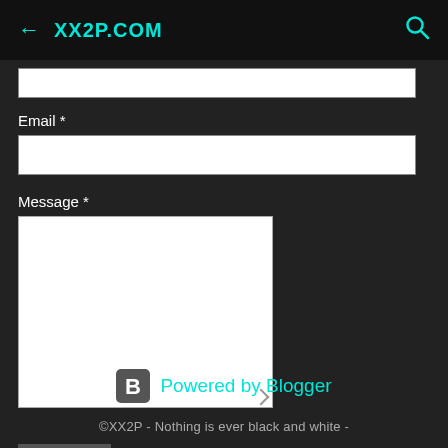← XX2P.COM
Email *
Message *
Send
[Figure (logo): Powered by Blogger logo with Blogger 'B' icon]
©XX2P - Nothing is ever black and white -